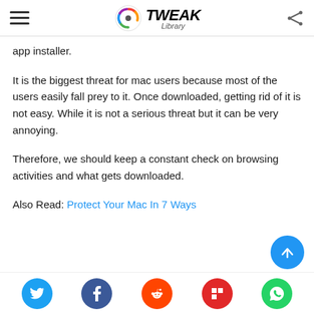Tweak Library
app installer.
It is the biggest threat for mac users because most of the users easily fall prey to it. Once downloaded, getting rid of it is not easy. While it is not a serious threat but it can be very annoying.
Therefore, we should keep a constant check on browsing activities and what gets downloaded.
Also Read: Protect Your Mac In 7 Ways